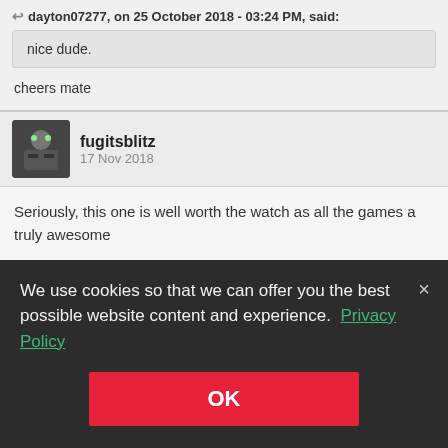dayton07277, on 25 October 2018 - 03:24 PM, said:
nice dude.
cheers mate
fugitsblitz
17 Nov 2018
Seriously, this one is well worth the watch as all the games a truly awesome
[Figure (screenshot): Awesomeness of the Week banner with avatar on dark blue background]
We use cookies so that we can offer you the best possible website content and experience. Privacy Policy
OK